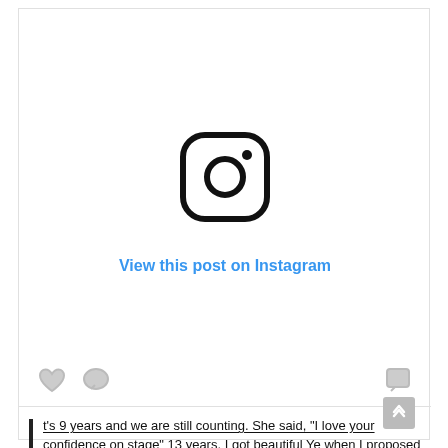[Figure (logo): Instagram logo icon — rounded square outline with camera lens circle and dot]
View this post on Instagram
[Figure (other): Social interaction icons: heart, comment bubble on left; comment icon on right]
t's 9 years and we are still counting. She said, "I love your confidence on stage" 13 years. I got beautiful Ye when I proposed 11 years ago. I almost made her Lord o the rings for 2 years. We walked down the aisle exactly 9